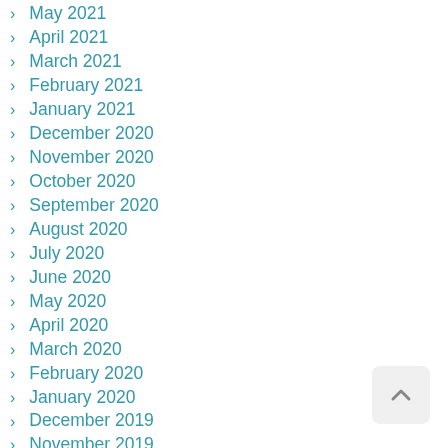May 2021
April 2021
March 2021
February 2021
January 2021
December 2020
November 2020
October 2020
September 2020
August 2020
July 2020
June 2020
May 2020
April 2020
March 2020
February 2020
January 2020
December 2019
November 2019
October 2019
September 2019
August 2019
July 2019